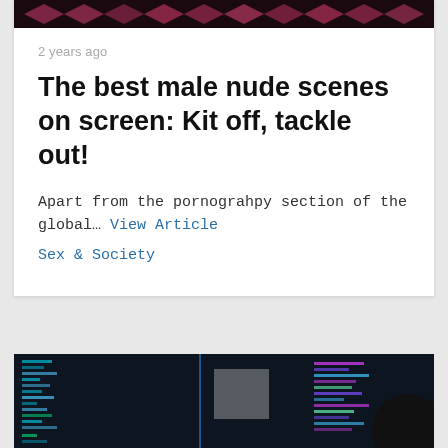[Figure (photo): Top portion of a dark image with pink/red geometric pattern, partially visible at top of card]
2 years ago
The best male nude scenes on screen: Kit off, tackle out!
Apart from the pornograhpy section of the global… View Article
Sex & Society
[Figure (photo): Dark photograph of a computer screen showing colorful code/programming environment with blue and green text on dark background. A dark circle/button overlay is visible in the lower right area.]